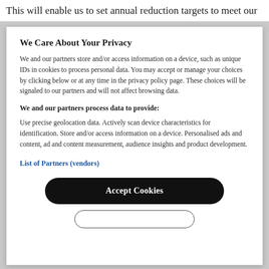This will enable us to set annual reduction targets to meet our
We Care About Your Privacy
We and our partners store and/or access information on a device, such as unique IDs in cookies to process personal data. You may accept or manage your choices by clicking below or at any time in the privacy policy page. These choices will be signaled to our partners and will not affect browsing data.
We and our partners process data to provide:
Use precise geolocation data. Actively scan device characteristics for identification. Store and/or access information on a device. Personalised ads and content, ad and content measurement, audience insights and product development.
List of Partners (vendors)